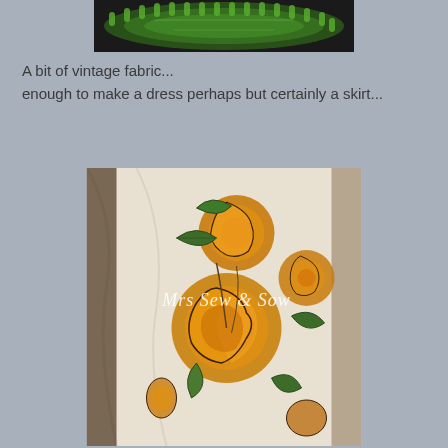[Figure (photo): Top portion of a decorative green glass plate or dish on a dark background]
A bit of vintage fabric...
enough to make a dress perhaps but certainly a skirt...
[Figure (photo): Close-up photo of vintage fabric with yellow/golden rose floral print on white background, with watermark text 'Mrs Sew & Sow']